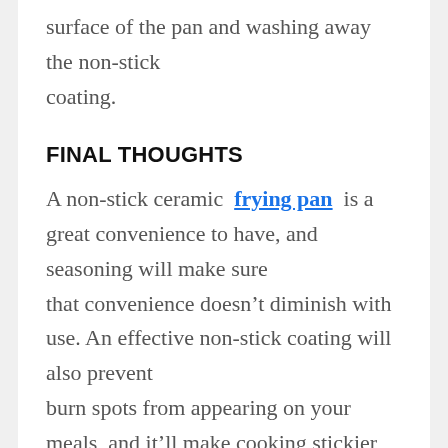surface of the pan and washing away the non-stick coating.
FINAL THOUGHTS
A non-stick ceramic frying pan is a great convenience to have, and seasoning will make sure that convenience doesn't diminish with use. An effective non-stick coating will also prevent burn spots from appearing on your meals, and it'll make cooking stickier